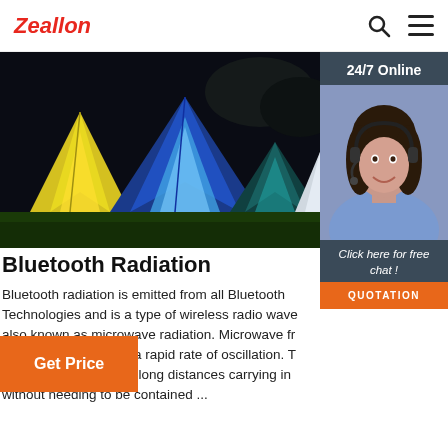Zeallon
[Figure (photo): Colorful illuminated camping tents at night on green grass with dark background]
[Figure (photo): Customer service representative woman with headset smiling, with 24/7 Online header, Click here for free chat text, and QUOTATION button]
Bluetooth Radiation
Bluetooth radiation is emitted from all Bluetooth Technologies and is a type of wireless radio wave also known as microwave radiation. Microwave fr short wavelength and a rapid rate of oscillation. T enables them to travel long distances carrying in without needing to be contained ...
Get Price